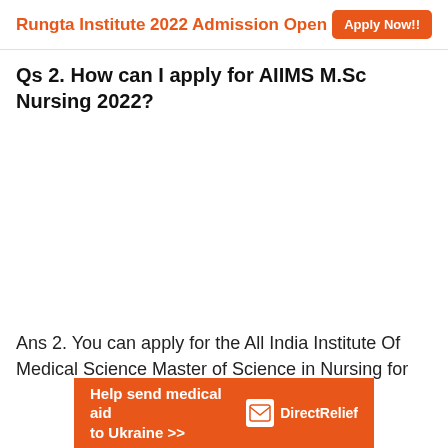Rungta Institute 2022 Admission Open   Apply Now!!
Qs 2. How can I apply for AIIMS M.Sc Nursing 2022?
Ans 2. You can apply for the All India Institute Of Medical Science Master of Science in Nursing for
[Figure (infographic): Advertisement banner: 'Help send medical aid to Ukraine >>' with Direct Relief logo on orange background]